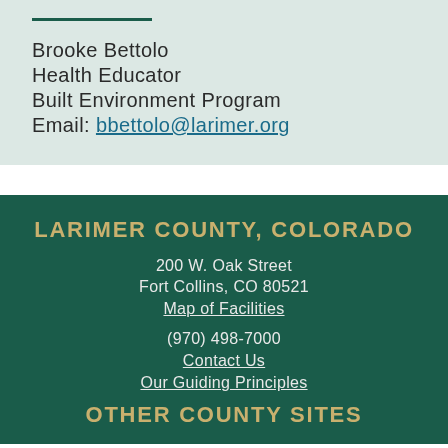Brooke Bettolo
Health Educator
Built Environment Program
Email: bbettolo@larimer.org
LARIMER COUNTY, COLORADO
200 W. Oak Street
Fort Collins, CO 80521
Map of Facilities
(970) 498-7000
Contact Us
Our Guiding Principles
OTHER COUNTY SITES